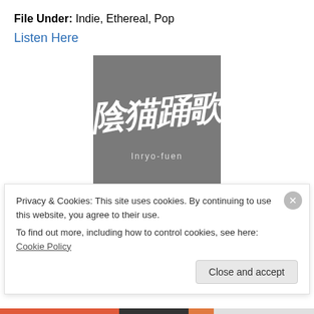File Under: Indie, Ethereal, Pop
Listen Here
[Figure (photo): Album cover art for Inryo-Fuen: gray square background with stylized white Japanese/Chinese calligraphy characters and text 'Inryo-fuen' below]
Inryo-Fuen: Early Works 1980-1982 (EM) LP
Innersleeve with liner notes and lyrics, as well as photos
Privacy & Cookies: This site uses cookies. By continuing to use this website, you agree to their use.
To find out more, including how to control cookies, see here: Cookie Policy
Close and accept